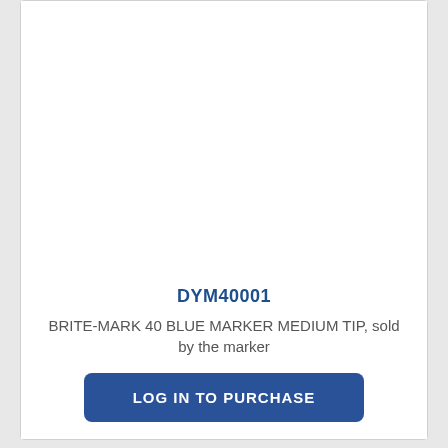[Figure (other): White blank product image area]
DYM40001
BRITE-MARK 40 BLUE MARKER MEDIUM TIP, sold by the marker
LOG IN TO PURCHASE